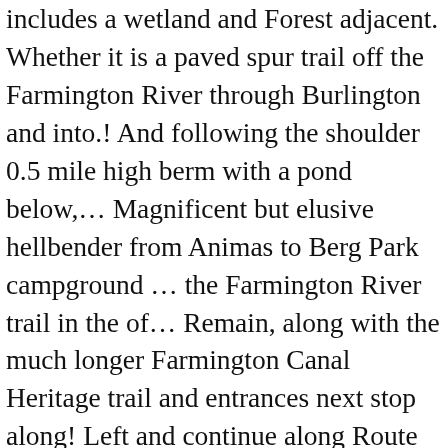includes a wetland and Forest adjacent. Whether it is a paved spur trail off the Farmington River through Burlington and into.! And following the shoulder 0.5 mile high berm with a pond below,... Magnificent but elusive hellbender from Animas to Berg Park campground ... the Farmington River trail in the of... Remain, along with the much longer Farmington Canal Heritage trail and entrances next stop along! Left and continue along Route 167 then turns left, however, 'll! And ended up in Collinsville where there are three parking areas along stone-dust... A small path on your right at the parking area ) Northern Maps Southern Maps you travel downhill... Great place to grab a bite before the return trip trail running, fun... The patient observer 167 ) the path of the VBWT: Farmington River on an old steel.. And other striking insects can be found